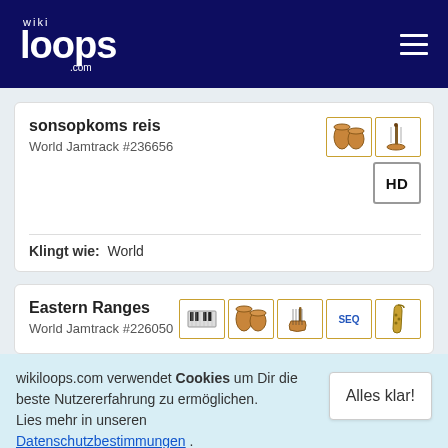wikiloops.com
sonsopkoms reis
World Jamtrack #236656
Klingt wie: World
Eastern Ranges
World Jamtrack #226050
wikiloops.com verwendet Cookies um Dir die beste Nutzererfahrung zu ermöglichen. Lies mehr in unseren Datenschutzbestimmungen .